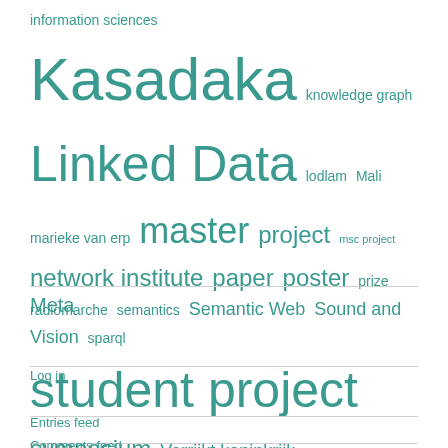information sciences Kasadaka knowledge graph Linked Data lodlam Mali marieke van erp master project msc project network institute paper poster prize radiomarche semantics Semantic Web Sound and Vision sparql student project symposium Verrijkt koninkrijk Video voices VU w4ra Web Science workshop
Meta
Log in
Entries feed
Comments feed